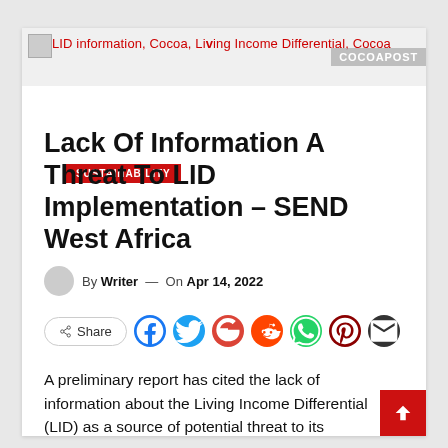LID information, Cocoa, Living Income Differential, Cocoa
SUSTAINABILITY
Lack Of Information A Threat To LID Implementation – SEND West Africa
By Writer — On Apr 14, 2022
Share
A preliminary report has cited the lack of information about the Living Income Differential (LID) as a source of potential threat to its implementation.